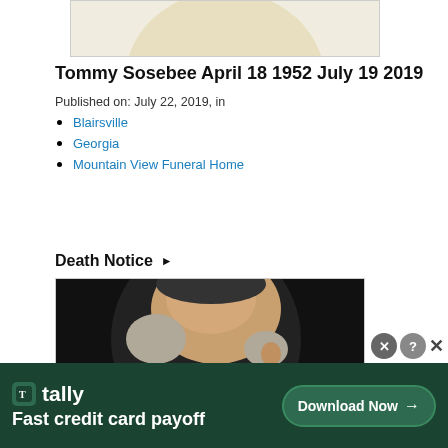[Figure (photo): Top portion of a circular portrait photo, cropped showing only the upper arc (beige/cream background tones visible)]
Tommy Sosebee April 18 1952 July 19 2019
Published on: July 22, 2019, in
Blairsville
Georgia
Mountain View Funeral Home
Death Notice ▶
[Figure (photo): Portrait photo of an elderly bald man with gray hair on the sides, shown from behind/side angle, with dark background (circular portrait style)]
[Figure (screenshot): Advertisement banner for Tally app: green background with Tally logo and text 'Fast credit card payoff', 'Download Now' button with arrow, and close/help buttons]